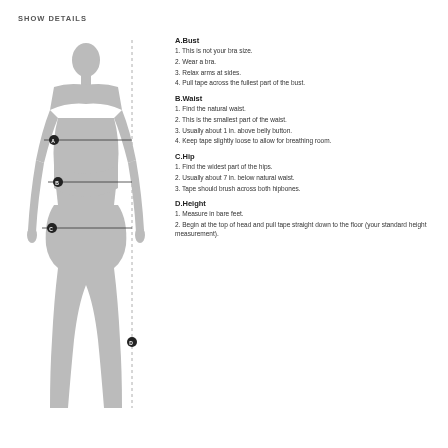SHOW DETAILS
[Figure (illustration): Silhouette of a female fashion figure with measurement markers A (bust), B (waist), C (hip), and D (height) indicated by horizontal lines with circular endpoints and a vertical dashed line along the side.]
A.Bust
1. This is not your bra size.
2. Wear a bra.
3. Relax arms at sides.
4. Pull tape across the fullest part of the bust.
B.Waist
1. Find the natural waist.
2. This is the smallest part of the waist.
3. Usually about 1 in. above belly button.
4. Keep tape slightly loose to allow for breathing room.
C.Hip
1. Find the widest part of the hips.
2. Usually about 7 in. below natural waist.
3. Tape should brush across both hipbones.
D.Height
1. Measure in bare feet.
2. Begin at the top of head and pull tape straight down to the floor (your standard height measurement).